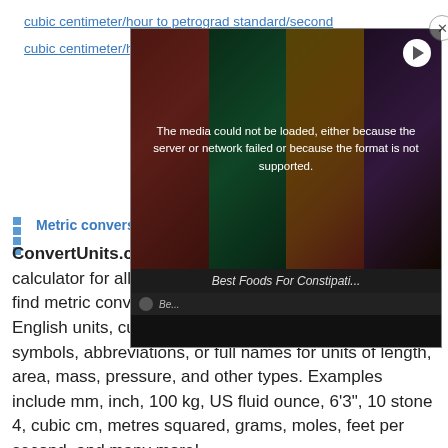cubic centimeter/hour to petrograd standard/second
cubic centimeter/h...
[Figure (screenshot): Video overlay showing 'Best Foods For Constipation' with a media error message: 'The media could not be loaded, either because the server or network failed or because the format is not supported.' Background shows a thumbnail grid of fruits and vegetables. A close button (×) appears in the top right corner.]
Metric conversi...
ConvertUnits.com provides an online conversion calculator for all types of measurement units. You can find metric conversion tables for SI units, as well as English units, currency, and other data. Type in unit symbols, abbreviations, or full names for units of length, area, mass, pressure, and other types. Examples include mm, inch, 100 kg, US fluid ounce, 6'3", 10 stone 4, cubic cm, metres squared, grams, moles, feet per second, and many more!